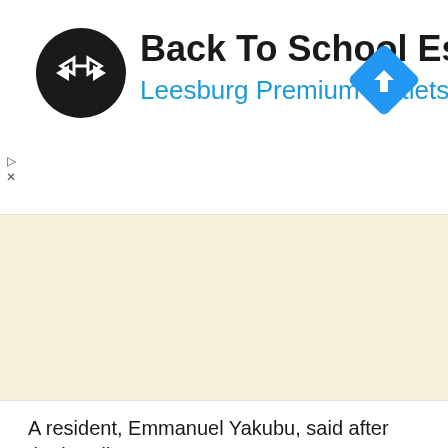[Figure (screenshot): Advertisement banner: black circular logo with double arrow symbol, title 'Back To School Essentials', subtitle 'Leesburg Premium Outlets' in blue, blue diamond navigation icon on right]
[Figure (map): Map area with beige/cream background representing a geographic map]
A resident, Emmanuel Yakubu, said after the bandits